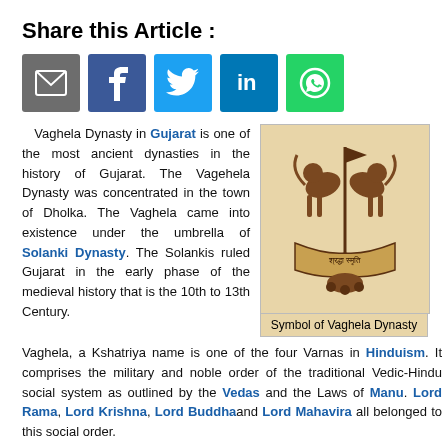Share this Article :
[Figure (infographic): Row of five social media share buttons: email (grey), Facebook (dark blue), Twitter (light blue), LinkedIn (blue), WhatsApp (green)]
Vaghela Dynasty in Gujarat is one of the most ancient dynasties in the history of Gujarat. The Vagehela Dynasty was concentrated in the town of Dholka. The Vaghela came into existence under the umbrella of Solanki Dynasty. The Solankis ruled Gujarat in the early phase of the medieval history that is the 10th to 13th Century.
[Figure (photo): Symbol of Vaghela Dynasty — a decorative emblem featuring two lions holding a flagpole, with a banner below containing text in Gujarati/Sanskrit script, on a beige/tan background]
Symbol of Vaghela Dynasty
Vaghela, a Kshatriya name is one of the four Varnas in Hinduism. It comprises the military and noble order of the traditional Vedic-Hindu social system as outlined by the Vedas and the Laws of Manu. Lord Rama, Lord Krishna, Lord Buddhaand Lord Mahavira all belonged to this social order.
The entire administration came under the under the control of